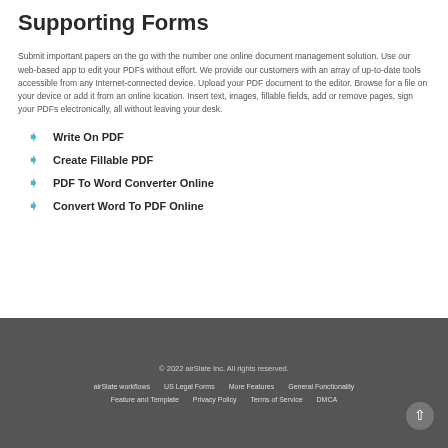Supporting Forms
Submit important papers on the go with the number one online document management solution. Use our web-based app to edit your PDFs without effort. We provide our customers with an array of up-to-date tools accessible from any Internet-connected device. Upload your PDF document to the editor. Browse for a file on your device or add it from an online location. Insert text, images, fillable fields, add or remove pages, sign your PDFs electronically, all without leaving your desk.
Write On PDF
Create Fillable PDF
PDF To Word Converter Online
Convert Word To PDF Online
© 2022 airSlate Inc. All rights reserved.
airSlate workflows   US Legal Forms   More Features   General Functionality
Feature and Template   Privacy Policy   Terms of Service   DMCA